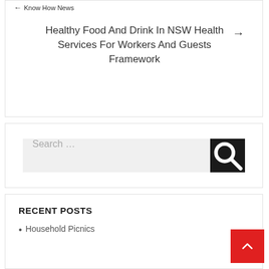← Know How News
Healthy Food And Drink In NSW Health Services For Workers And Guests Framework →
[Figure (screenshot): Search input field with placeholder text 'Search ...' and a dark search button with magnifying glass icon]
RECENT POSTS
Household Picnics